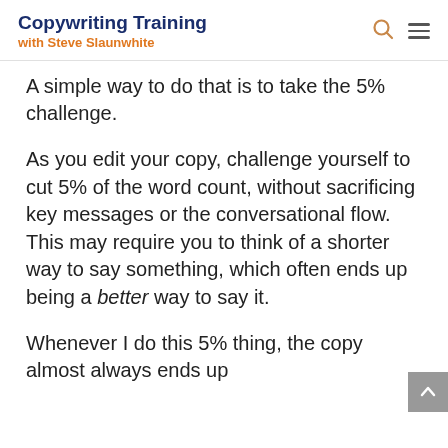Copywriting Training with Steve Slaunwhite
A simple way to do that is to take the 5% challenge.
As you edit your copy, challenge yourself to cut 5% of the word count, without sacrificing key messages or the conversational flow. This may require you to think of a shorter way to say something, which often ends up being a better way to say it.
Whenever I do this 5% thing, the copy almost always ends up